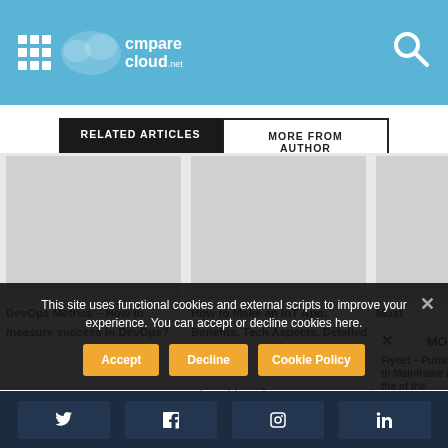CompareCloud.net
RELATED ARTICLES | MORE FROM AUTHOR
[Figure (photo): Gray image placeholder for DevOps Metrics article]
[Figure (photo): Gray image placeholder for IoT App article]
[Figure (photo): Gray image placeholder for Most Effective article]
DevOps Metrics – How to measure success in DevOps?
How to Make an IoT App: Benefits, Tech Aspects, Detailed Guide
Most Effective
× MORE
Flynet – Putting the Mainframe at the of the Idea...
This site uses functional cookies and external scripts to improve your experience. You can accept or decline cookies here.
Accept
Decline
Cookie Policy